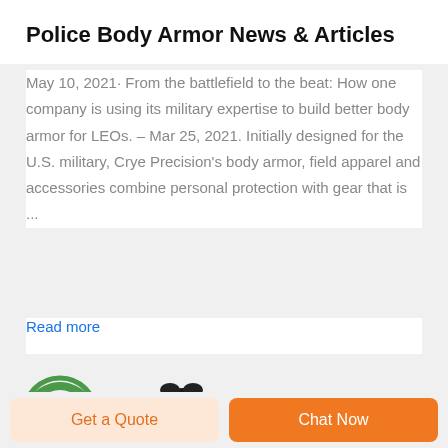Police Body Armor News & Articles
May 10, 2021· From the battlefield to the beat: How one company is using its military expertise to build better body armor for LEOs. – Mar 25, 2021. Initially designed for the U.S. military, Crye Precision's body armor, field apparel and accessories combine personal protection with gear that is ...
Read more
[Figure (logo): Two partially visible logos/icons at the bottom of the page — a circular badge-style logo on the left and a black gear/equipment piece on the right.]
Get a Quote
Chat Now